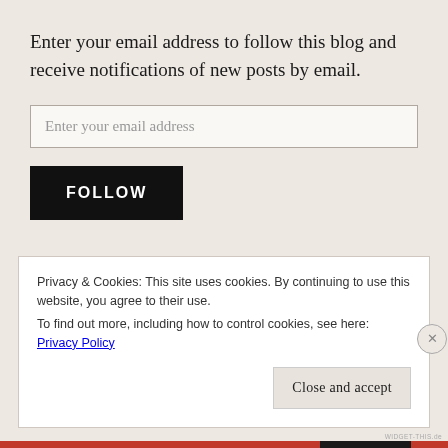Enter your email address to follow this blog and receive notifications of new posts by email.
Enter your email address
FOLLOW
Join 33,554 other followers
Privacy & Cookies: This site uses cookies. By continuing to use this website, you agree to their use.
To find out more, including how to control cookies, see here: Privacy Policy
Close and accept